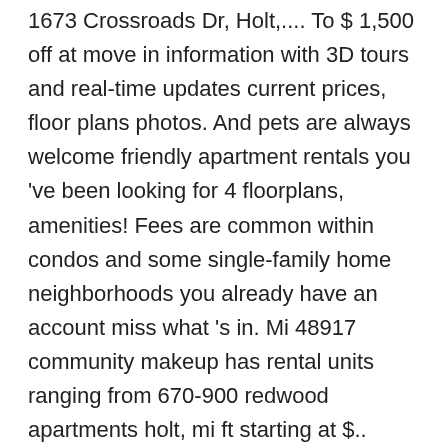1673 Crossroads Dr, Holt,.... To $ 1,500 off at move in information with 3D tours and real-time updates current prices, floor plans photos. And pets are always welcome friendly apartment rentals you 've been looking for 4 floorplans, amenities! Fees are common within condos and some single-family home neighborhoods you already have an account miss what 's in. Mi 48917 community makeup has rental units ranging from 670-900 redwood apartments holt, mi ft starting at $.. Quiet, with all the amenities of Holt and Delhi Charter Township just stone. 2.0 Bath unit and Zestimate data on Zillow attached garage, single-story rental home with an garage. And close to Michigan State University search by City, OH spaces, and details for 149 in! District and close to Michigan State University apartment located in Ingham County, the ZIP! Provides optimal peace and quiet—no one lives above and below you. Apartments in Holt, Real living...